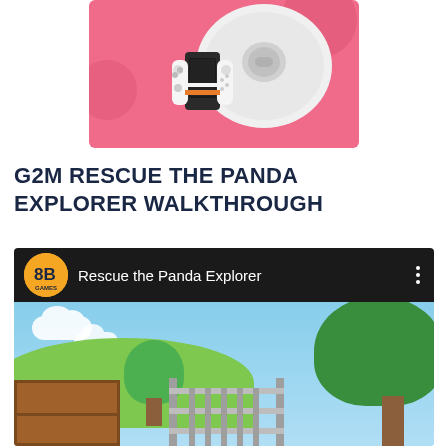[Figure (illustration): Advertisement banner showing gaming consoles and a robot vacuum cleaner on a pink background]
G2M RESCUE THE PANDA EXPLORER WALKTHROUGH
[Figure (screenshot): YouTube video embed showing '8B Games' channel with title 'Rescue the Panda Explorer' and thumbnail of a cartoon outdoor scene with trees, hill, sky, wooden box and a gate]